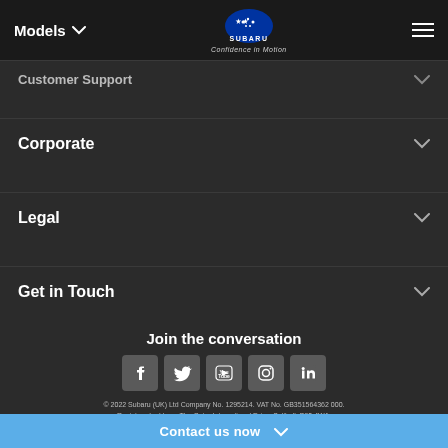Models | Subaru — Confidence in Motion
Customer Support
Corporate
Legal
Get in Touch
Join the conversation
[Figure (other): Row of social media icons: Facebook, Twitter, YouTube, Instagram, LinkedIn]
© 2022 Subaru (UK) Ltd Company No. 1295214. VAT No. GB351564362 000. Registered address The Gate, International Drive, Solihull, B90 4WA,
Contact us now